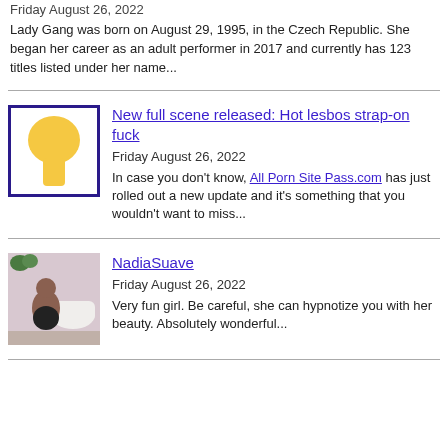Friday August 26, 2022
Lady Gang was born on August 29, 1995, in the Czech Republic. She began her career as an adult performer in 2017 and currently has 123 titles listed under her name...
New full scene released: Hot lesbos strap-on fuck
Friday August 26, 2022
In case you don't know, All Porn Site Pass.com has just rolled out a new update and it's something that you wouldn't want to miss...
NadiaSuave
Friday August 26, 2022
Very fun girl. Be careful, she can hypnotize you with her beauty. Absolutely wonderful...